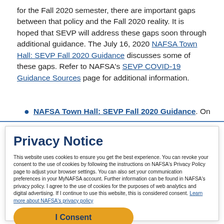for the Fall 2020 semester, there are important gaps between that policy and the Fall 2020 reality. It is hoped that SEVP will address these gaps soon through additional guidance. The July 16, 2020 NAFSA Town Hall: SEVP Fall 2020 Guidance discusses some of these gaps. Refer to NAFSA's SEVP COVID-19 Guidance Sources page for additional information.
NAFSA Town Hall: SEVP Fall 2020 Guidance. On
Privacy Notice
This website uses cookies to ensure you get the best experience. You can revoke your consent to the use of cookies by following the instructions on NAFSA's Privacy Policy page to adjust your browser settings. You can also set your communication preferences in your MyNAFSA account. Further information can be found in NAFSA's privacy policy. I agree to the use of cookies for the purposes of web analytics and digital advertising. If I continue to use this website, this is considered consent. Learn more about NAFSA's privacy policy